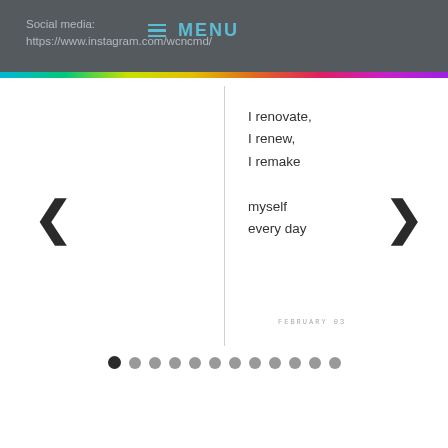Social media: https://www.instagram.com/wcncmd/
≡  MENU
I renovate,
I renew,
I remake

myself
every day
FEBRUARY 03